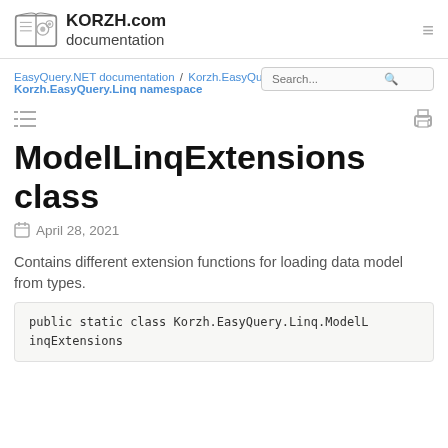KORZH.com documentation
EasyQuery.NET documentation / Korzh.EasyQuery.Linq / Korzh.EasyQuery.Linq namespace
ModelLinqExtensions class
April 28, 2021
Contains different extension functions for loading data model from types.
public static class Korzh.EasyQuery.Linq.ModelLinqExtensions